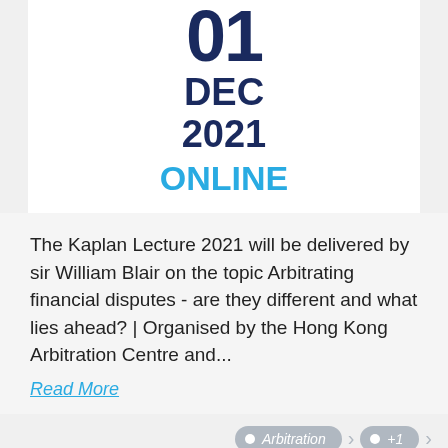01 DEC 2021 ONLINE
The Kaplan Lecture 2021 will be delivered by sir William Blair on the topic Arbitrating financial disputes - are they different and what lies ahead? | Organised by the Hong Kong Arbitration Centre and...
Read More
Arbitration  +1
The Duty of States to Coopera... ational Law: 30th Annua...